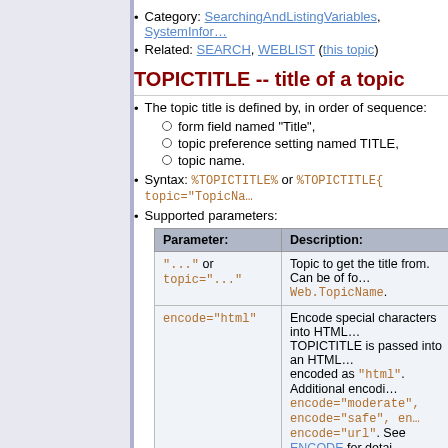Category: SearchingAndListingVariables, SystemInfor…
Related: SEARCH, WEBLIST (this topic)
TOPICTITLE -- title of a topic
The topic title is defined by, in order of sequence:
form field named "Title",
topic preference setting named TITLE,
topic name.
Syntax: %TOPICTITLE% or %TOPICTITLE{ topic="TopicNa…
Supported parameters:
| Parameter: | Description: |
| --- | --- |
| "..." or topic="..." | Topic to get the title from. Can be of fo… Web.TopicName. |
| encode="html" | Encode special characters into HTML… TOPICTITLE is passed into an HTML… encoded as "html". Additional encodi… encode="moderate", encode="safe", en… encode="url". See ENCODE for detai… |
Example: %TOPICTITLE{Projects.SushiProject}% retur… topic has a form field named "Title" with value "Sushi P…